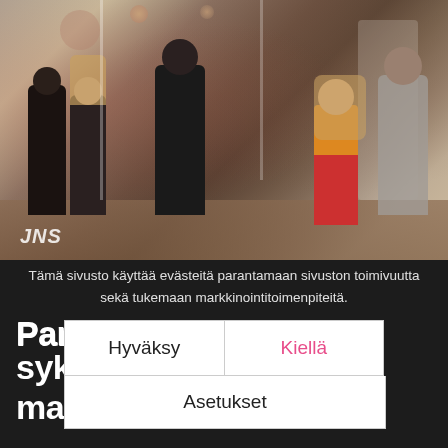[Figure (photo): People dancing in a dance studio, several couples in black outfits, one woman in a red and yellow dress, JNS watermark in bottom left corner]
Tämä sivusto käyttää evästeitä parantamaan sivuston toimivuutta sekä tukemaan markkinointitoimenpiteitä.
Hyväksy
Kiellä
Asetukset
Paris... taso 3, syks... maanantaisin 5.9.– 12.12.2022 klo 19:15– 20.10...